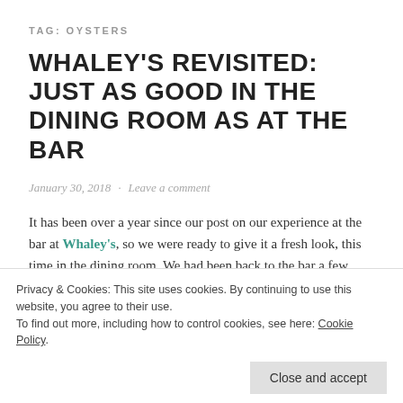TAG: OYSTERS
WHALEY'S REVISITED: JUST AS GOOD IN THE DINING ROOM AS AT THE BAR
January 30, 2018   Leave a comment
It has been over a year since our post on our experience at the bar at Whaley's, so we were ready to give it a fresh look, this time in the dining room. We had been back to the bar a few times in the interim and found the drinks to be good but the oysters to be a bit hit-or-miss. Mainly too gritty
Privacy & Cookies: This site uses cookies. By continuing to use this website, you agree to their use.
To find out more, including how to control cookies, see here: Cookie Policy
Close and accept